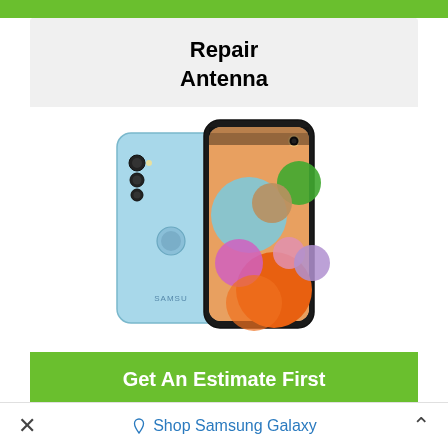Repair
Antenna
[Figure (photo): Samsung Galaxy A11 smartphone shown from front and back angles, in light blue color, with colorful bubble wallpaper on screen]
Get An Estimate First
× Shop Samsung Galaxy ^